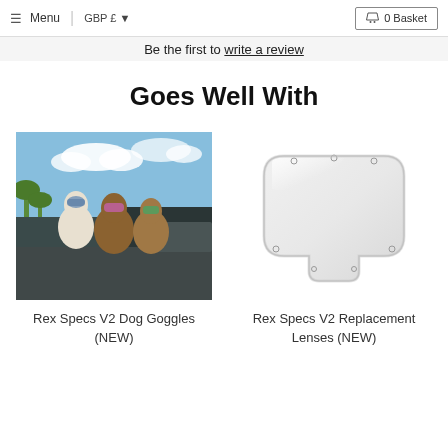Menu | GBP £ ▼   0 Basket
Be the first to write a review
Goes Well With
[Figure (photo): Three dogs wearing colorful goggles sitting in the bed of a pickup truck with palm trees in the background]
Rex Specs V2 Dog Goggles (NEW)
[Figure (photo): Rex Specs V2 Replacement Lenses (NEW) - a clear/white goggle lens viewed from the front on a white background]
Rex Specs V2 Replacement Lenses (NEW)